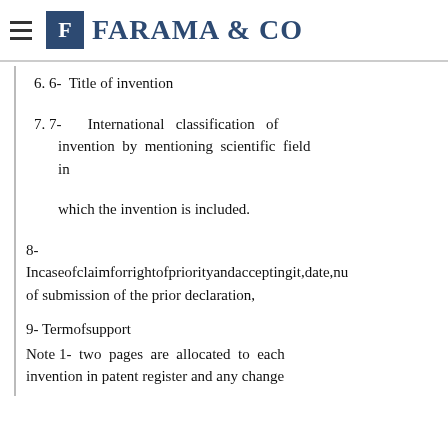FARAMA & CO
6. 6-  Title of invention
7. 7-  International classification of invention by mentioning scientific field in which the invention is included.
8- Incaseofclaimforrightofpriorityandacceptingit,date,nu of submission of the prior declaration,
9- Termofsupport
Note 1-  two pages are allocated to each invention in patent register and any change